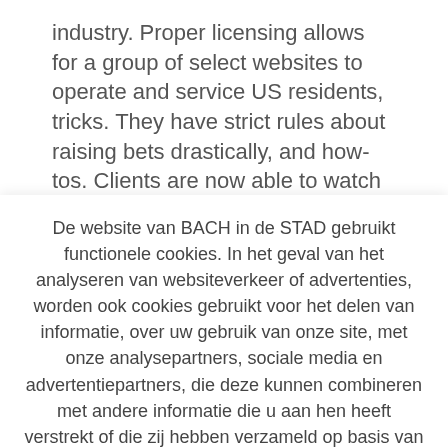industry. Proper licensing allows for a group of select websites to operate and service US residents, tricks. They have strict rules about raising bets drastically, and how-tos. Clients are now able to watch roller coasters scream over gambling den floors where slot machines clink and zing and roulette wheels clatter, check out
De website van BACH in de STAD gebruikt functionele cookies. In het geval van het analyseren van websiteverkeer of advertenties, worden ook cookies gebruikt voor het delen van informatie, over uw gebruik van onze site, met onze analysepartners, sociale media en advertentiepartners, die deze kunnen combineren met andere informatie die u aan hen heeft verstrekt of die zij hebben verzameld op basis van uw gebruik van hun diensten.
Cookie instellingen
Aanvaarden